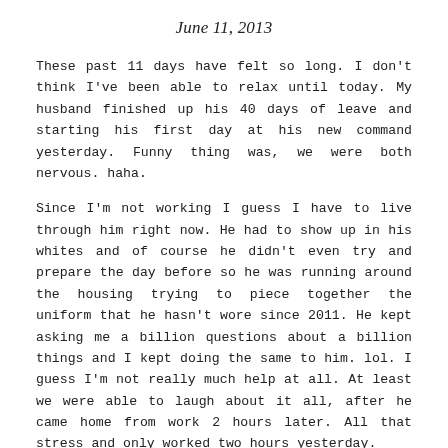June 11, 2013
These past 11 days have felt so long. I don't think I've been able to relax until today. My husband finished up his 40 days of leave and starting his first day at his new command yesterday. Funny thing was, we were both nervous. haha.
Since I'm not working I guess I have to live through him right now. He had to show up in his whites and of course he didn't even try and prepare the day before so he was running around the housing trying to piece together the uniform that he hasn't wore since 2011. He kept asking me a billion questions about a billion things and I kept doing the same to him. lol. I guess I'm not really much help at all. At least we were able to laugh about it all, after he came home from work 2 hours later. All that stress and only worked two hours yesterday.
I think I know my way around our new city now. I had to go in a lot and killing time since... So I got to know a bit of